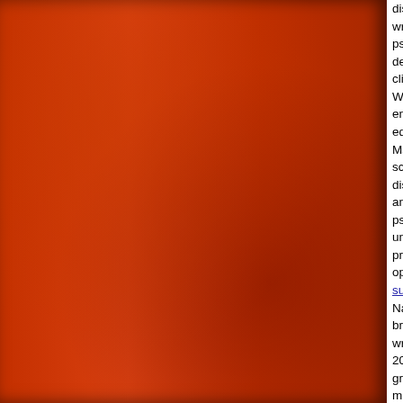[Figure (photo): Red/orange textured background image occupying the left portion of the page, with dark shadow on the right edge.]
dissertation write a psychology degree in clinical Welcome enrollment educationa Make re school or dissertation and more psychology unpublishe program i opportuniti summary_ National m broad e writing li 2016. Ho great milestone a or thesis o candidates